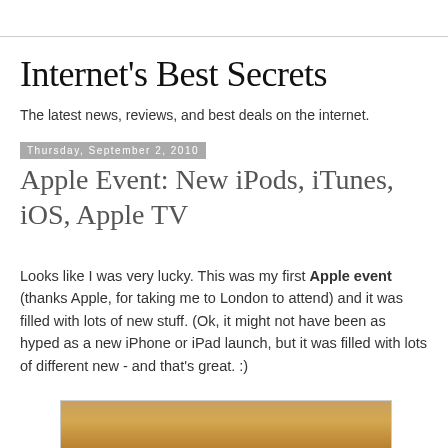Internet's Best Secrets
The latest news, reviews, and best deals on the internet.
Thursday, September 2, 2010
Apple Event: New iPods, iTunes, iOS, Apple TV
Looks like I was very lucky. This was my first Apple event (thanks Apple, for taking me to London to attend) and it was filled with lots of new stuff. (Ok, it might not have been as hyped as a new iPhone or iPad launch, but it was filled with lots of different new - and that's great. :)
[Figure (photo): Partial photo of a wooden/acoustic guitar neck and body, warm brown tones, partially visible at bottom of page]